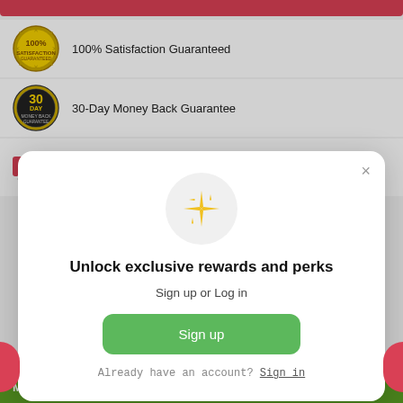[Figure (illustration): Red horizontal bar at top of page]
100% Satisfaction Guaranteed
30-Day Money Back Guarantee
FREE Standard Shipping on Domestic orders over $99 Use Checkout Code FREESHIP
[Figure (infographic): Modal popup with sparkle icon, title 'Unlock exclusive rewards and perks', subtitle 'Sign up or Log in', green Sign up button, and 'Already have an account? Sign in' footer link. Close X button in top right.]
MINERAL INGREDIENTS